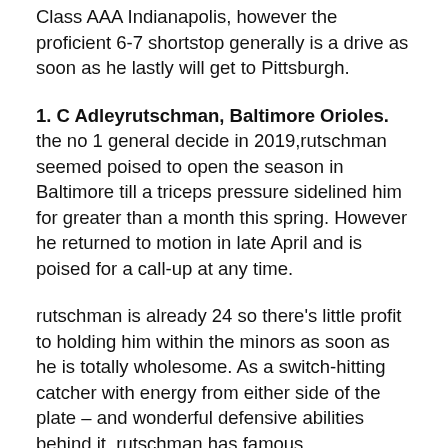Class AAA Indianapolis, however the proficient 6-7 shortstop generally is a drive as soon as he lastly will get to Pittsburgh.
1. C Adleyrutschman, Baltimore Orioles.
the no 1 general decide in 2019,rutschman seemed poised to open the season in Baltimore till a triceps pressure sidelined him for greater than a month this spring. However he returned to motion in late April and is poised for a call-up at any time.
rutschman is already 24 so there's little profit to holding him within the minors as soon as he is totally wholesome. As a switch-hitting catcher with energy from either side of the plate – and wonderful defensive abilities behind it, rutschman has famous